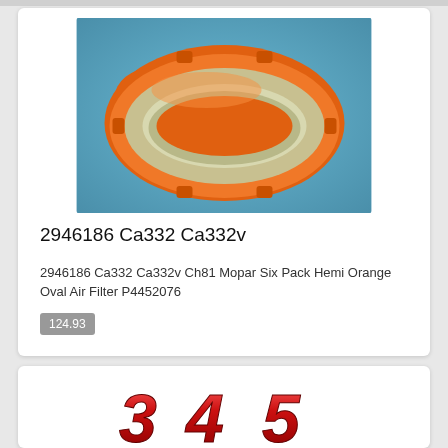[Figure (photo): Orange oval air filter (Mopar Hemi Six Pack style) on blue background]
2946186 Ca332 Ca332v
2946186 Ca332 Ca332v Ch81 Mopar Six Pack Hemi Orange Oval Air Filter P4452076
124.93
[Figure (photo): Red chrome '345' badge/emblem on white background]